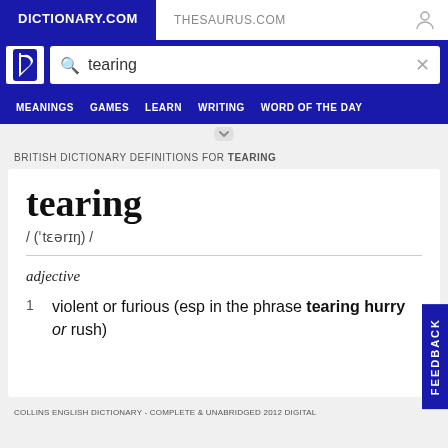DICTIONARY.COM | THESAURUS.COM
[Figure (screenshot): Dictionary.com website header with search bar showing 'tearing' and navigation menu with MEANINGS, GAMES, LEARN, WRITING, WORD OF THE DAY]
BRITISH DICTIONARY DEFINITIONS FOR TEARING
tearing
/ (ˈtɛərɪŋ) /
adjective
1  violent or furious (esp in the phrase tearing hurry or rush)
COLLINS ENGLISH DICTIONARY - COMPLETE & UNABRIDGED 2012 DIGITAL